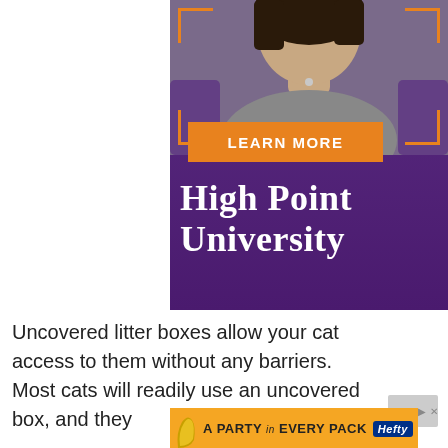[Figure (photo): Advertisement for High Point University showing a woman in a gray top on a purple background with orange corner brackets, an orange 'LEARN MORE' button, and the university name in white serif text]
Uncovered litter boxes allow your cat access to them without any barriers. Most cats will readily use an uncovered box, and they
[Figure (photo): Hefty brand advertisement: 'A PARTY in EVERY PACK' on orange background with Hefty logo]